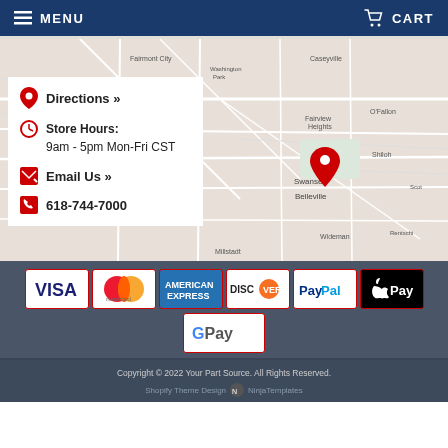MENU   CART
[Figure (map): Google Maps showing St. Louis and surrounding areas including Fairmont City, Washington Park, Caseyville, Fairview Heights, O'Fallon, Swansea, Belleville, Shiloh, Scott, Renschler, Wideman, Millstadt, with a red location pin dropped south of St. Louis. Overlay panel shows: Directions », Store Hours: 9am - 5pm Mon-Fri CST, Email Us », 618-744-7000]
[Figure (infographic): Payment method logos: VISA, Mastercard, American Express, Discover, PayPal, Apple Pay, Google Pay]
Copyright © 2022 Your Part Source. All Rights Reserved. Shopify Theme Design NinjaTemplates